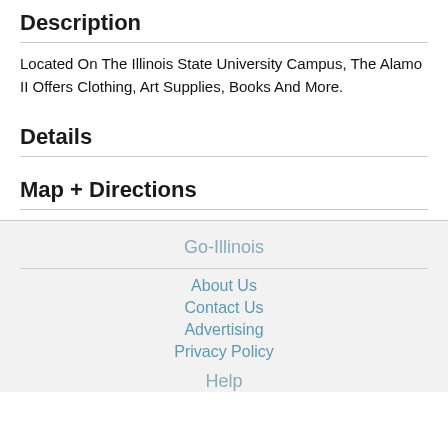Description
Located On The Illinois State University Campus, The Alamo II Offers Clothing, Art Supplies, Books And More.
Details
Map + Directions
Go-Illinois
About Us
Contact Us
Advertising
Privacy Policy
Help